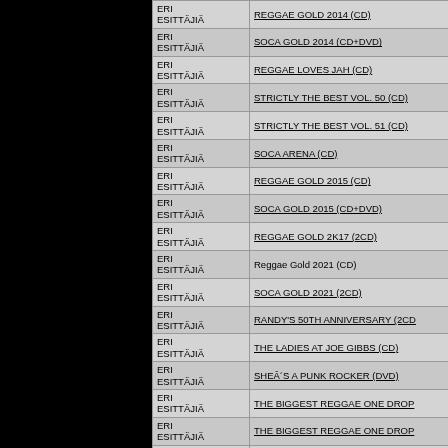| Artist | Album |
| --- | --- |
| ERI ESITTÄJIÄ | REGGAE GOLD 2014 (CD) |
| ERI ESITTÄJIÄ | SOCA GOLD 2014 (CD+DVD) |
| ERI ESITTÄJIÄ | REGGAE LOVES JAH (CD) |
| ERI ESITTÄJIÄ | STRICTLY THE BEST VOL. 50 (CD) |
| ERI ESITTÄJIÄ | STRICTLY THE BEST VOL. 51 (CD) |
| ERI ESITTÄJIÄ | SOCA ARENA (CD) |
| ERI ESITTÄJIÄ | REGGAE GOLD 2015 (CD) |
| ERI ESITTÄJIÄ | SOCA GOLD 2015 (CD+DVD) |
| ERI ESITTÄJIÄ | REGGAE GOLD 2K17 (2CD) |
| ERI ESITTÄJIÄ | Reggae Gold 2021 (CD) |
| ERI ESITTÄJIÄ | SOCA GOLD 2021 (2CD) |
| ERI ESITTÄJIÄ | RANDY'S 50TH ANNIVERSARY (2CD) |
| ERI ESITTÄJIÄ | THE LADIES AT JOE GIBBS (CD) |
| ERI ESITTÄJIÄ | SHEÂ´S A PUNK ROCKER (DVD) |
| ERI ESITTÄJIÄ | THE BIGGEST REGGAE ONE DROP |
| ERI ESITTÄJIÄ | THE BIGGEST REGGAE ONE DROP |
| ERI ESITTÄJIÄ | TOTAL REGGAE - GREENSLEEVES |
| ERI ESITTÄJIÄ | SONGS FOR REGGAE LOVERS 6 (2 |
| ERI ESITTÄJIÄ |  |